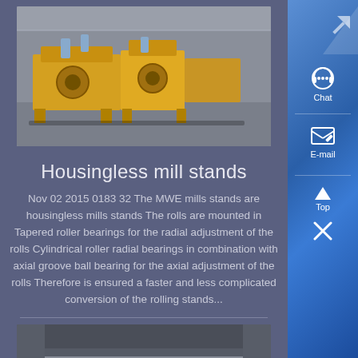[Figure (photo): Yellow housingless mill stands machinery in an industrial facility]
Housingless mill stands
Nov 02 2015 0183 32 The MWE mills stands are housingless mills stands The rolls are mounted in Tapered roller bearings for the radial adjustment of the rolls Cylindrical roller radial bearings in combination with axial groove ball bearing for the axial adjustment of the rolls Therefore is ensured a faster and less complicated conversion of the rolling stands...
[Figure (photo): Industrial rolling mill stand machinery viewed from below or inside showing metal structure]